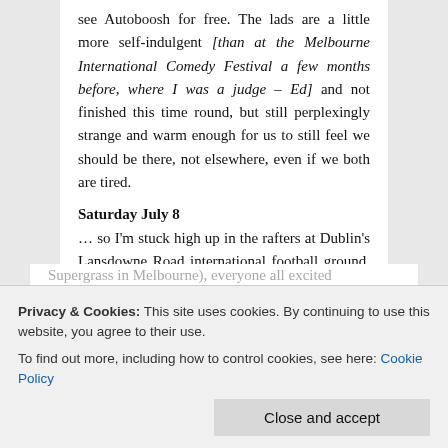see Autoboosh for free. The lads are a little more self-indulgent [than at the Melbourne International Comedy Festival a few months before, where I was a judge – Ed] and not finished this time round, but still perplexingly strange and warm enough for us to still feel we should be there, not elsewhere, even if we both are tired.
Saturday July 8
… so I'm stuck high up in the rafters at Dublin's Lansdowne Road international football ground, freezing my fucking fingers off, chatting to Dave Simpson about the stupidity of editors and the rise and rise of PRs in the music business
Supergrass in Melbourne), everyone all excited and it's cosy and warm, the night lights twinkling
Privacy & Cookies: This site uses cookies. By continuing to use this website, you agree to their use.
To find out more, including how to control cookies, see here: Cookie Policy